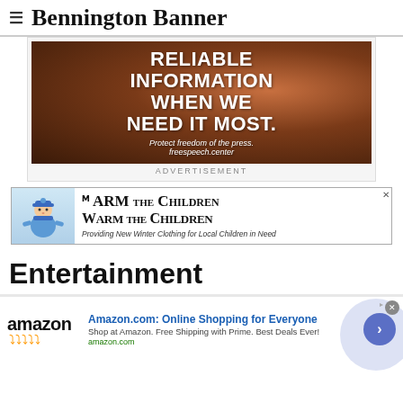≡ Bennington Banner
[Figure (photo): Advertisement with dark background showing woman's face with curly hair. Large bold white text reads: RELIABLE INFORMATION WHEN WE NEED IT MOST. Protect freedom of the press. freespeech.center]
ADVERTISEMENT
[Figure (illustration): Warm the Children ad — illustrated cartoon of a child in winter clothing (blue hat and scarf). Text: Warm the Children — Providing New Winter Clothing for Local Children in Need]
Entertainment
[Figure (screenshot): Amazon advertisement banner: Amazon.com: Online Shopping for Everyone. Shop at Amazon. Free Shipping with Prime. Best Deals Ever! amazon.com]